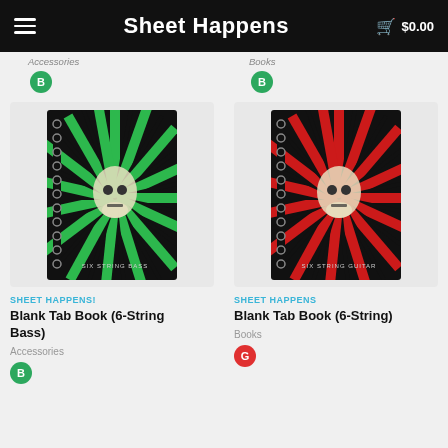Sheet Happens — Cart $0.00
[Figure (screenshot): Two product cards showing spiral-bound tab books. Left: green and black sunburst cover with skull logo, 'SIX STRING BASS'. Right: red and black sunburst cover with skull logo, 'SIX STRING GUITAR'.]
SHEET HAPPENS!
Blank Tab Book (6-String Bass)
Accessories
SHEET HAPPENS
Blank Tab Book (6-String)
Books